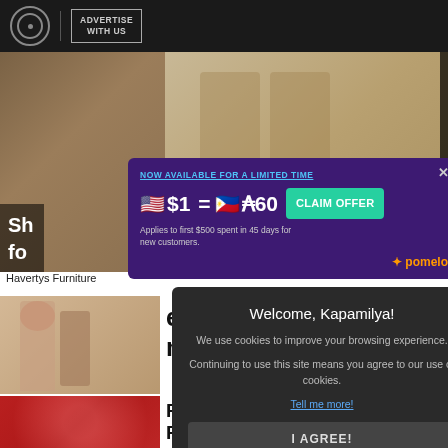ADVERTISE WITH US
[Figure (photo): Havertys Furniture advertisement photo showing dining room furniture]
Sh... fo...
Havertys Furniture
[Figure (infographic): Pomelo ad overlay: NOW AVAILABLE FOR A LIMITED TIME $1 = ₱60 CLAIM OFFER Applies to first $500 spent in 45 days for new customers.]
[Figure (photo): Article photo showing a young girl in pink top and denim shorts with an adult]
een over n they
[Figure (photo): Red sparkly/glittery object photo]
Pain Relief (Now Legal in Ashburn )
behealth.space
[Figure (infographic): Welcome, Kapamilya! cookie consent modal. We use cookies to improve your browsing experience. Continuing to use this site means you agree to our use of cookies. Tell me more! I AGREE!]